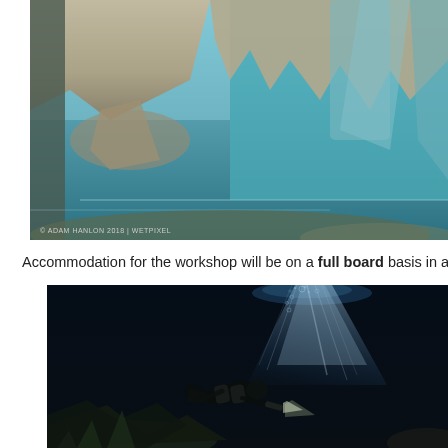[Figure (photo): Underwater cave photograph showing stalactites and rock formations with teal/turquoise colored water. Watermark reads: © ADAM HANLON 2018 | WETPIXEL]
Accommodation for the workshop will be on a full board basis in a luxury vi
[Figure (photo): Underwater cave photograph showing a scuba diver with equipment illuminated by a dramatic beam of light descending from above through dark water, with stalactites visible below.]